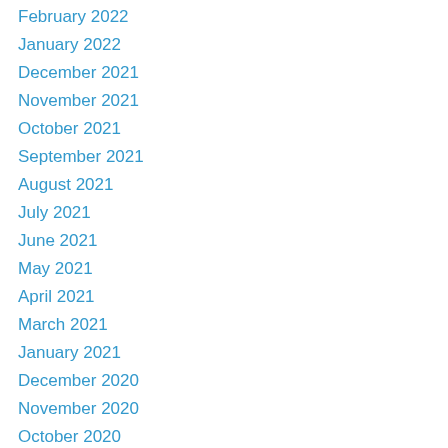February 2022
January 2022
December 2021
November 2021
October 2021
September 2021
August 2021
July 2021
June 2021
May 2021
April 2021
March 2021
January 2021
December 2020
November 2020
October 2020
September 2020
August 2020
July 2020
June 2020